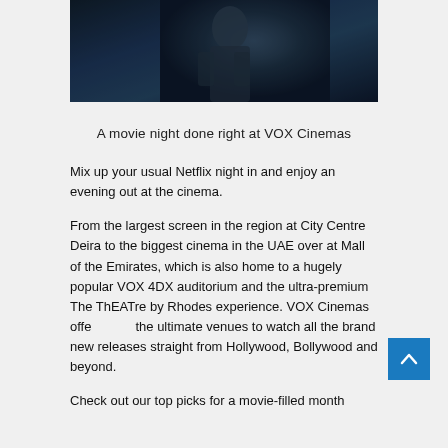[Figure (photo): Dark cinematic image showing a figure in armor or costume, likely a movie still or promotional image for VOX Cinemas]
A movie night done right at VOX Cinemas
Mix up your usual Netflix night in and enjoy an evening out at the cinema.
From the largest screen in the region at City Centre Deira to the biggest cinema in the UAE over at Mall of the Emirates, which is also home to a hugely popular VOX 4DX auditorium and the ultra-premium The ThEATre by Rhodes experience. VOX Cinemas offers the ultimate venues to watch all the brand new releases straight from Hollywood, Bollywood and beyond.
Check out our top picks for a movie-filled month